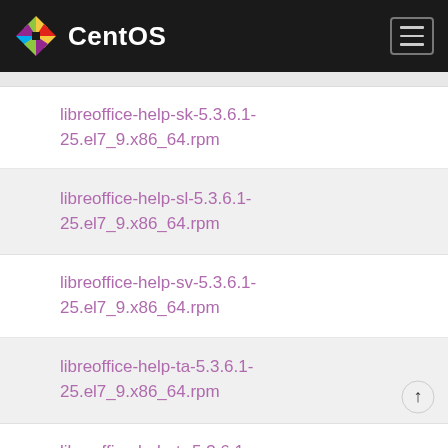CentOS
libreoffice-help-sk-5.3.6.1-25.el7_9.x86_64.rpm
libreoffice-help-sl-5.3.6.1-25.el7_9.x86_64.rpm
libreoffice-help-sv-5.3.6.1-25.el7_9.x86_64.rpm
libreoffice-help-ta-5.3.6.1-25.el7_9.x86_64.rpm
libreoffice-help-tr-5.3.6.1-25.el7_9.x86_64.rpm